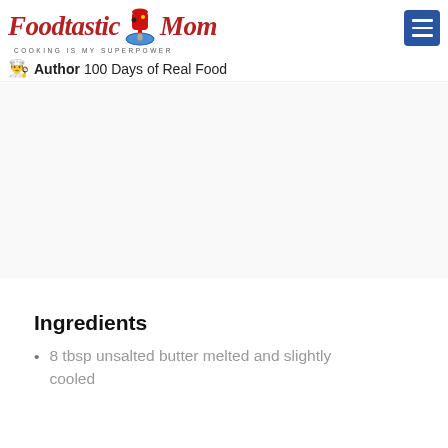Foodtastic Mom — COOKING IS MY SUPERPOWER — Author 100 Days of Real Food
[Figure (logo): Foodtastic Mom logo with red KitchenAid stand mixer and tagline COOKING IS MY SUPERPOWER, followed by chef hat icon and Author 100 Days of Real Food text]
Ingredients
8 tbsp unsalted butter melted and slightly cooled